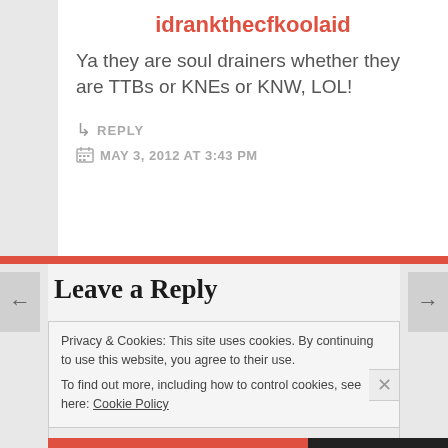idrankthecfkoolaid
Ya they are soul drainers whether they are TTBs or KNEs or KNW, LOL!
↳ REPLY
MAY 3, 2012 AT 3:43 PM
Leave a Reply
Privacy & Cookies: This site uses cookies. By continuing to use this website, you agree to their use.
To find out more, including how to control cookies, see here: Cookie Policy
Close and accept